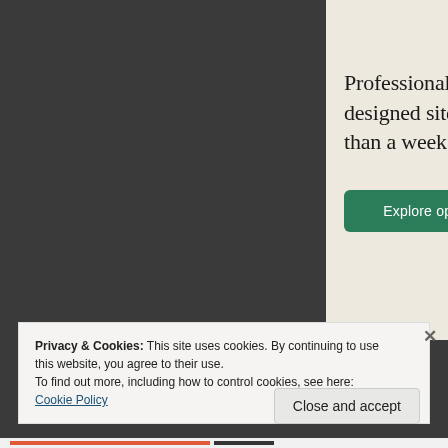[Figure (illustration): Squarespace advertisement panel with beige/cream background showing text 'Professionally designed sites in less than a week' with a green 'Explore options' button and a phone device mockup in the lower right corner]
Privacy & Cookies: This site uses cookies. By continuing to use this website, you agree to their use.
To find out more, including how to control cookies, see here: Cookie Policy
Close and accept